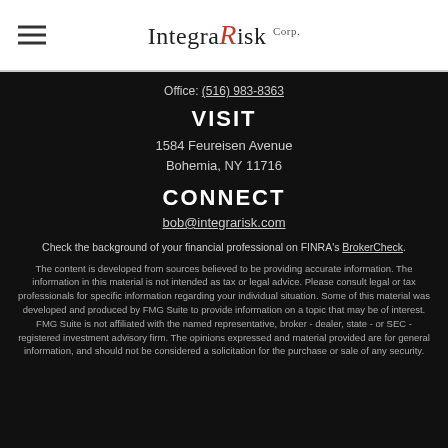[Figure (logo): IntegraRisk Corp. logo with red stylized R, hamburger menu icon on the left]
Office: (516) 983-8363
VISIT
1584 Feureisen Avenue
Bohemia, NY 11716
CONNECT
bob@integrarisk.com
Check the background of your financial professional on FINRA's BrokerCheck.
The content is developed from sources believed to be providing accurate information. The information in this material is not intended as tax or legal advice. Please consult legal or tax professionals for specific information regarding your individual situation. Some of this material was developed and produced by FMG Suite to provide information on a topic that may be of interest. FMG Suite is not affiliated with the named representative, broker - dealer, state - or SEC - registered investment advisory firm. The opinions expressed and material provided are for general information, and should not be considered a solicitation for the purchase or sale of any security.